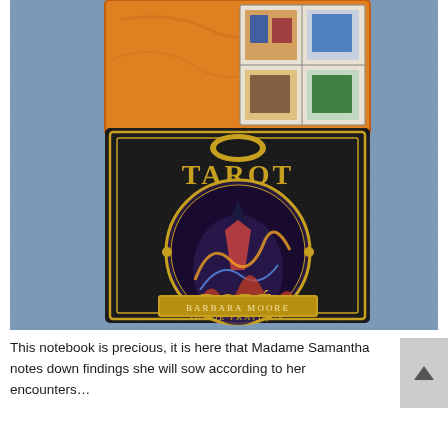[Figure (photo): Photograph of a Tarot Doré Guide Pratique book by Barbara Moore placed on a blue cloth surface, with a tarot card box visible behind it showing illustrated tarot cards.]
This notebook is precious, it is here that Madame Samantha notes down findings she will sow according to her encounters…